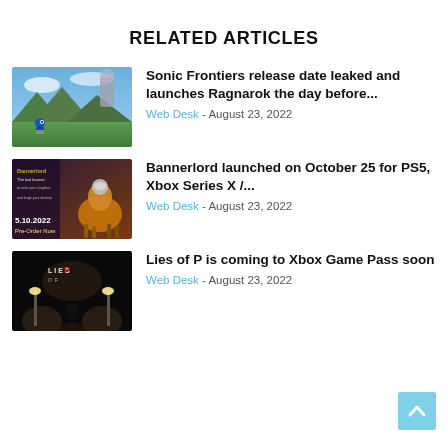RELATED ARTICLES
[Figure (photo): Screenshot from Sonic Frontiers game showing Sonic character in open world landscape with giant figure in background]
Sonic Frontiers release date leaked and launches Ragnarok the day before...
Web Desk - August 23, 2022
[Figure (photo): Bannerlord promotional image showing a knight on horseback with 5.10.2022 and Pre-Order Now text]
Bannerlord launched on October 25 for PS5, Xbox Series X /...
Web Desk - August 23, 2022
[Figure (photo): Lies of P game promotional image showing silhouetted figure with game logo on dark background]
Lies of P is coming to Xbox Game Pass soon
Web Desk - August 23, 2022